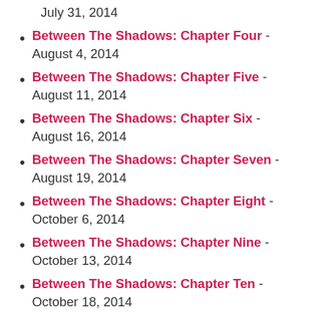July 31, 2014
Between The Shadows: Chapter Four - August 4, 2014
Between The Shadows: Chapter Five - August 11, 2014
Between The Shadows: Chapter Six - August 16, 2014
Between The Shadows: Chapter Seven - August 19, 2014
Between The Shadows: Chapter Eight - October 6, 2014
Between The Shadows: Chapter Nine - October 13, 2014
Between The Shadows: Chapter Ten - October 18, 2014
Between The Shadows: Chapter Eleven - October 26, 2014